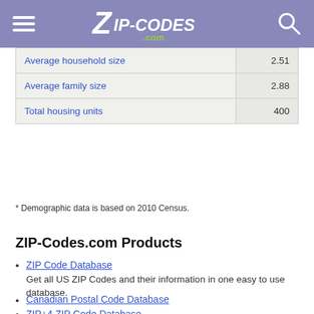ZIP-Codes.com
|  |  |
| --- | --- |
| Average household size | 2.51 |
| Average family size | 2.88 |
| Total housing units | 400 |
* Demographic data is based on 2010 Census.
ZIP-Codes.com Products
ZIP Code Database
Get all US ZIP Codes and their information in one easy to use database.
ZIP+4 ZIP Code Database
Covering every address in the U.S., get the +4 information you need.